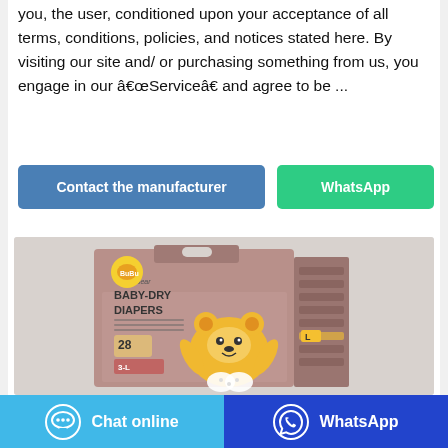you, the user, conditioned upon your acceptance of all terms, conditions, policies, and notices stated here. By visiting our site and/ or purchasing something from us, you engage in our â€œServiceâ€ and agree to be ...
[Figure (other): Two buttons: 'Contact the manufacturer' (blue) and 'WhatsApp' (green)]
[Figure (photo): Product image of BuBu Bear Baby-Dry Diapers box, showing a cartoon bear character and the text 'bubu bear BABY-DRY DIAPERS 28' on a pinkish-brown box]
[Figure (other): Footer bar with two buttons: 'Chat online' (light blue with chat icon) and 'WhatsApp' (dark blue with WhatsApp icon)]